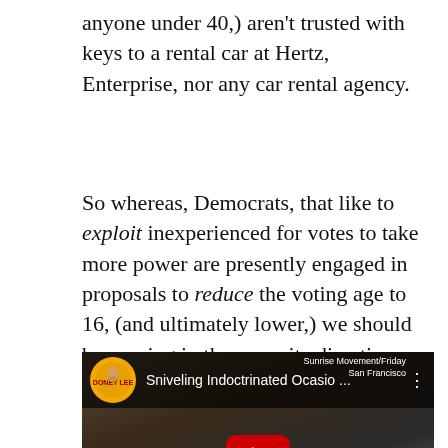anyone under 40,) aren't trusted with keys to a rental car at Hertz, Enterprise, nor any car rental agency.
So whereas, Democrats, that like to exploit inexperienced for votes to take more power are presently engaged in proposals to reduce the voting age to 16, (and ultimately lower,) we should be moving in the opposite direction.
[Figure (screenshot): YouTube video thumbnail showing 'Sniveling Indoctrinated Ocasio ...' with channel logo 'Doney Lee', CNN chyron reading 'CLIMATEHOAX OCASIO-KIDS', top-right label 'Sunrise Movement/Friday San Francisco', and a red YouTube play button overlay.]